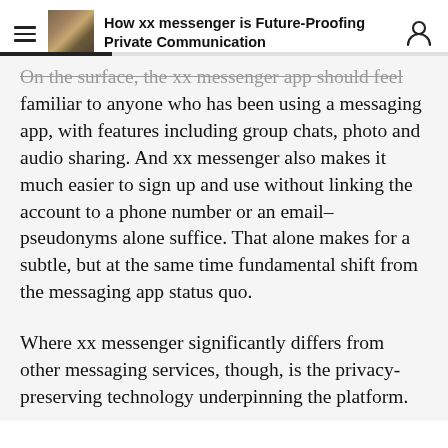How xx messenger is Future-Proofing Private Communication
On the surface, the xx messenger app should feel familiar to anyone who has been using a messaging app, with features including group chats, photo and audio sharing. And xx messenger also makes it much easier to sign up and use without linking the account to a phone number or an email–pseudonyms alone suffice. That alone makes for a subtle, but at the same time fundamental shift from the messaging app status quo.
Where xx messenger significantly differs from other messaging services, though, is the privacy-preserving technology underpinning the platform.